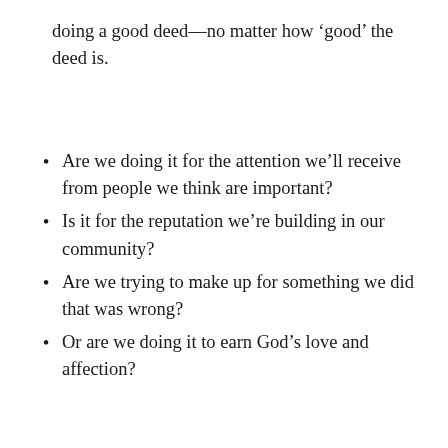doing a good deed—no matter how 'good' the deed is.
Are we doing it for the attention we'll receive from people we think are important?
Is it for the reputation we're building in our community?
Are we trying to make up for something we did that was wrong?
Or are we doing it to earn God's love and affection?